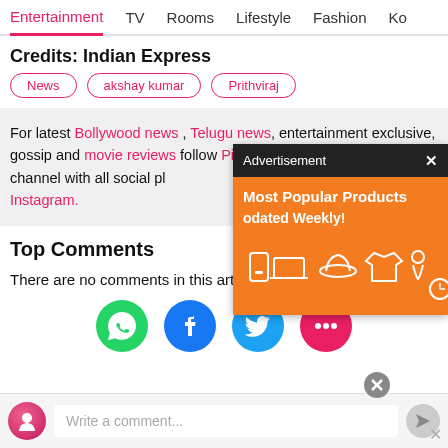Entertainment  TV  Rooms  Lifestyle  Fashion  Ko
Credits: Indian Express
News
akshay kumar
Prithviraj
For latest Bollywood news , Telugu news, entertainment exclusive, gossip and movie reviews follow Pinkvilla website and YouTube channel with all social pl... Instagram.
[Figure (screenshot): Advertisement overlay with orange background showing 'Most Popular Products Updated Weekly!' with product icons]
Top Comments
There are no comments in this article yet. Be first to post
[Figure (infographic): Social share icons: WhatsApp (green), Facebook (blue), Twitter (light blue), comment/chat (pink)]